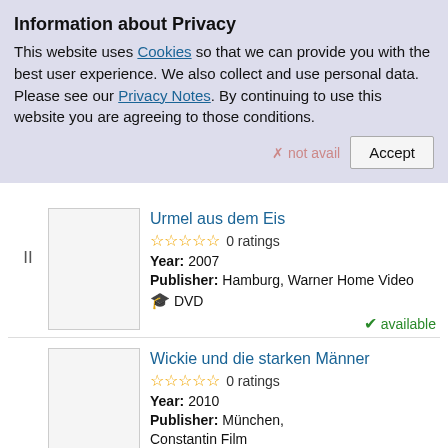Information about Privacy
This website uses Cookies so that we can provide you with the best user experience. We also collect and use personal data. Please see our Privacy Notes. By continuing to use this website you are agreeing to those conditions.
✗ not avail... Accept
Urmel aus dem Eis
☆☆☆☆☆ 0 ratings
Year: 2007
Publisher: Hamburg, Warner Home Video
🎬 DVD
✔ available
Wickie und die starken Männer
☆☆☆☆☆ 0 ratings
Year: 2010
Publisher: München, Constantin Film